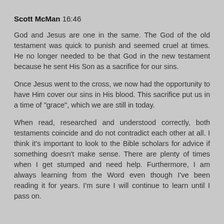Scott McMan 16:46
God and Jesus are one in the same. The God of the old testament was quick to punish and seemed cruel at times. He no longer needed to be that God in the new testament because he sent His Son as a sacrifice for our sins.
Once Jesus went to the cross, we now had the opportunity to have Him cover our sins in His blood. This sacrifice put us in a time of "grace", which we are still in today.
When read, researched and understood correctly, both testaments coincide and do not contradict each other at all. I think it's important to look to the Bible scholars for advice if something doesn't make sense. There are plenty of times when I get stumped and need help. Furthermore, I am always learning from the Word even though I've been reading it for years. I'm sure I will continue to learn until I pass on.